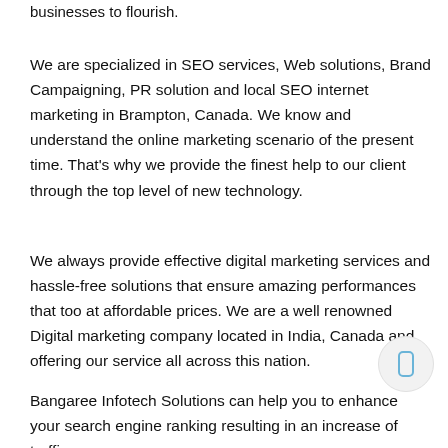businesses to flourish.
We are specialized in SEO services, Web solutions, Brand Campaigning, PR solution and local SEO internet marketing in Brampton, Canada. We know and understand the online marketing scenario of the present time. That's why we provide the finest help to our client through the top level of new technology.
We always provide effective digital marketing services and hassle-free solutions that ensure amazing performances that too at affordable prices. We are a well renowned Digital marketing company located in India, Canada and offering our service all across this nation.
Bangaree Infotech Solutions can help you to enhance your search engine ranking resulting in an increase of traffic on